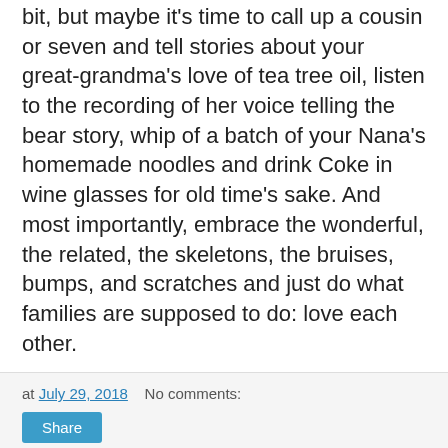bit, but maybe it's time to call up a cousin or seven and tell stories about your great-grandma's love of tea tree oil, listen to the recording of her voice telling the bear story, whip of a batch of your Nana's homemade noodles and drink Coke in wine glasses for old time's sake. And most importantly, embrace the wonderful, the related, the skeletons, the bruises, bumps, and scratches and just do what families are supposed to do: love each other.
at July 29, 2018    No comments:
Share
Wednesday, July 11, 2018
Liberating Plankton, part 1
So I'm 45. I haven't dyed or bleached my hair in years and have fully embraced being silver-haired. I have wrinkles - more so now that I've lost 75 pounds - and my boobs are definitely slacking these days. I am well-versed in crossing